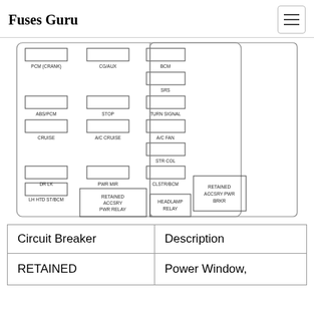Fuses Guru
[Figure (schematic): Fuse box diagram showing labeled fuse/relay positions: PCM (CRANK), CG/AUX, BCM, SRS, ABS/PCM, STOP, TURN SIGNAL, CRUISE, A/C CRUISE, A/C FAN, STR COL, DR LK, PWR MIR, CLSTR/BCM, LH HTD ST/BCM, RETAINED ACCSRY PWR RELAY, HEADLAMP RELAY, RETAINED ACCSRY PWR BRKR]
| Circuit Breaker | Description |
| --- | --- |
| RETAINED | Power Window, |